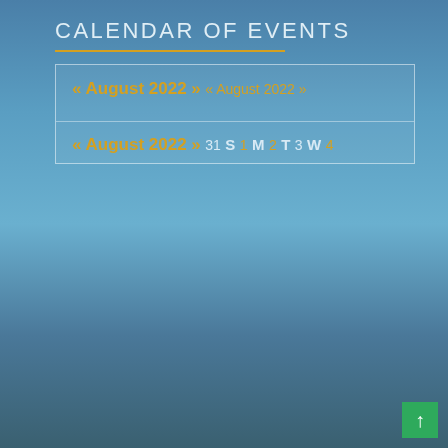CALENDAR OF EVENTS
« August 2022 »
« August 2022 »
« August 2022 »
31
S
1
M
2
T
3
W
4